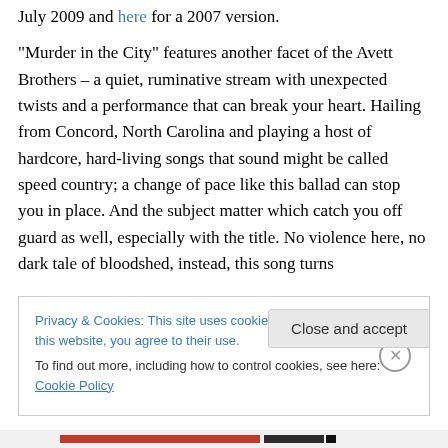July 2009 and here for a 2007 version.
“Murder in the City” features another facet of the Avett Brothers – a quiet, ruminative stream with unexpected twists and a performance that can break your heart. Hailing from Concord, North Carolina and playing a host of hardcore, hard-living songs that sound might be called speed country; a change of pace like this ballad can stop you in place. And the subject matter which catch you off guard as well, especially with the title. No violence here, no dark tale of bloodshed, instead, this song turns into a meditation on family and fate. Scott Avett provides
Privacy & Cookies: This site uses cookies. By continuing to use this website, you agree to their use.
To find out more, including how to control cookies, see here: Cookie Policy
Close and accept